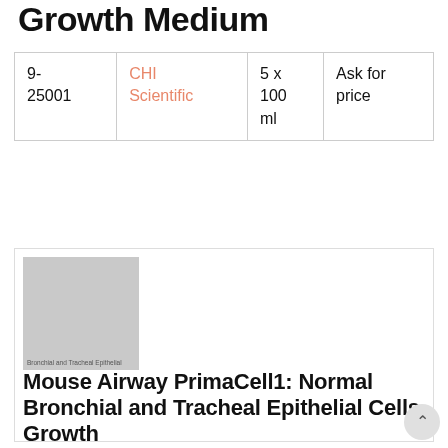Growth Medium
| 9-25001 | CHI Scientific | 5 x 100 ml | Ask for price |
[Figure (photo): Gray placeholder product image with small text reading 'Bronchial and Tracheal Epithelial Cells' on a light gray background]
Mouse Airway PrimaCell1: Normal Bronchial and Tracheal Epithelial Cells Growth